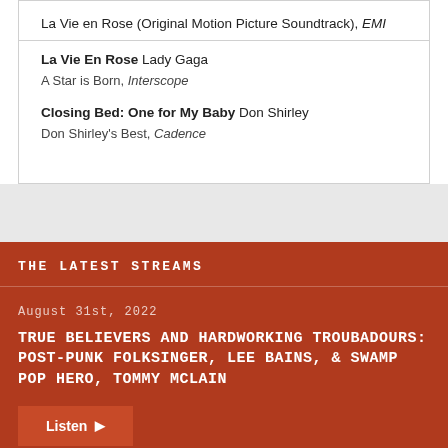La Vie en Rose (Original Motion Picture Soundtrack), EMI
La Vie En Rose Lady Gaga
A Star is Born, Interscope
Closing Bed: One for My Baby Don Shirley
Don Shirley's Best, Cadence
THE LATEST STREAMS
August 31st, 2022
TRUE BELIEVERS AND HARDWORKING TROUBADOURS: POST-PUNK FOLKSINGER, LEE BAINS, & SWAMP POP HERO, TOMMY MCLAIN
August 24th, 2022